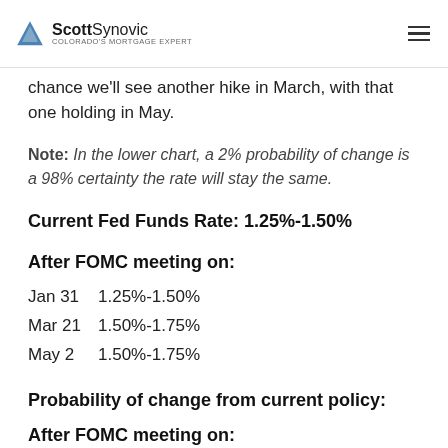ScottSynovic Colorado's Mortgage Expert
chance we'll see another hike in March, with that one holding in May.
Note: In the lower chart, a 2% probability of change is a 98% certainty the rate will stay the same.
Current Fed Funds Rate: 1.25%-1.50%
After FOMC meeting on:
Jan 31    1.25%-1.50%
Mar 21    1.50%-1.75%
May 2    1.50%-1.75%
Probability of change from current policy:
After FOMC meeting on: